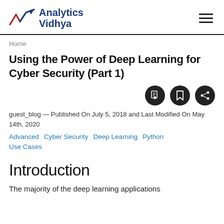Analytics Vidhya
Home
Using the Power of Deep Learning for Cyber Security (Part 1)
guest_blog — Published On July 5, 2018 and Last Modified On May 14th, 2020
Advanced   Cyber Security   Deep Learning   Python
Use Cases
Introduction
The majority of the deep learning applications